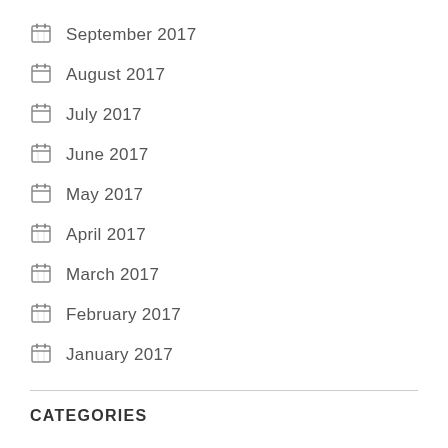September 2017
August 2017
July 2017
June 2017
May 2017
April 2017
March 2017
February 2017
January 2017
CATEGORIES
Apple Computer